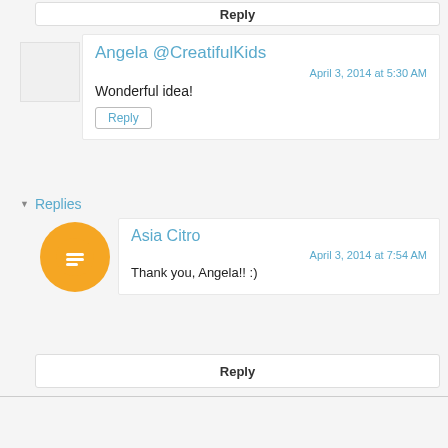Reply
Angela @CreatifulKids
April 3, 2014 at 5:30 AM
Wonderful idea!
Reply
Replies
Asia Citro
April 3, 2014 at 7:54 AM
Thank you, Angela!! :)
Reply